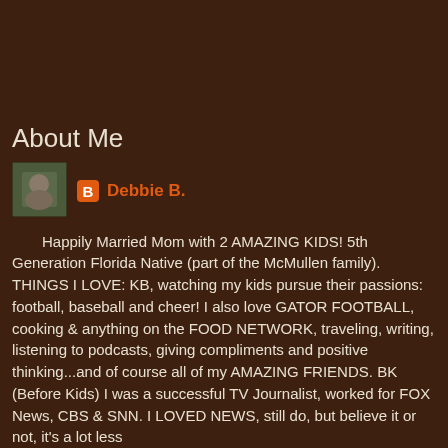About Me
[Figure (photo): Small profile photo thumbnail of Debbie B.]
Debbie B.
Happily Married Mom with 2 AMAZING KIDS! 5th Generation Florida Native (part of the McMullen family). THINGS I LOVE: KB, watching my kids pursue their passions: football, baseball and cheer! I also love GATOR FOOTBALL, cooking & anything on the FOOD NETWORK, traveling, writing, listening to podcasts, giving compliments and positive thinking...and of course all of my AMAZING FRIENDS. BK (Before Kids) I was a successful TV Journalist, worked for FOX News, CBS & SNN. I LOVED NEWS, still do, but believe it or not, it's a lot less